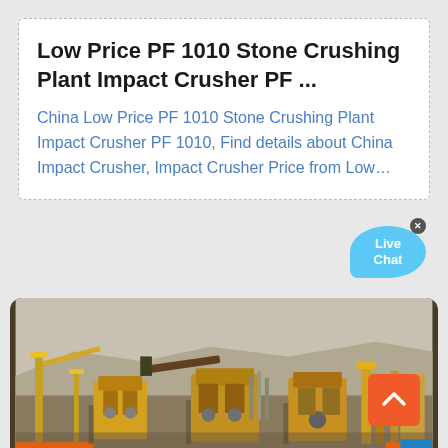Low Price PF 1010 Stone Crushing Plant Impact Crusher PF ...
China Low Price PF 1010 Stone Crushing Plant Impact Crusher PF 1010, Find details about China Impact Crusher, Impact Crusher Price from Low...
[Figure (photo): Aerial/ground-level photo of an industrial stone crushing plant or mining facility with yellow machinery, conveyors, and industrial equipment in an outdoor arid setting.]